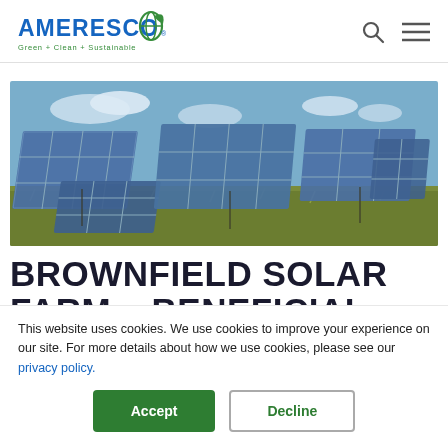AMERESCO Green + Clean + Sustainable
[Figure (photo): Solar farm with multiple large tilted blue photovoltaic panel arrays in a grassy field under a partly cloudy sky.]
BROWNFIELD SOLAR FARM – BENEFICIAL
This website uses cookies. We use cookies to improve your experience on our site. For more details about how we use cookies, please see our privacy policy.
Accept  Decline